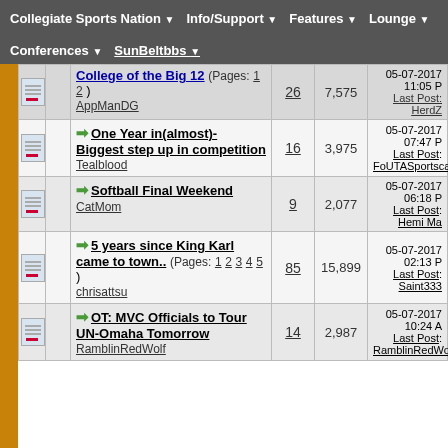Collegiate Sports Nation | Info/Support | Features | Lounge
Conferences | SunBeltbbs
|  |  | Thread Title | Replies | Views | Last Post |
| --- | --- | --- | --- | --- | --- |
|  |  | College of the Big 12 (Pages: 1 2) AppManDG | 26 | 7,575 | 05-07-2017 11:05 P Last Post: HerdZ |
|  |  | One Year in(almost)- Biggest step up in competition Tealblood | 16 | 3,975 | 05-07-2017 07:47 P Last Post: FoUTASportscaste |
|  |  | Softball Final Weekend CatMom | 9 | 2,077 | 05-07-2017 06:18 P Last Post: Hemi Ma |
|  |  | 5 years since King Karl came to town.. (Pages: 1 2 3 4 5) chrisattsu | 85 | 15,899 | 05-07-2017 02:13 P Last Post: Saint333 |
|  |  | OT: MVC Officials to Tour UN-Omaha Tomorrow RamblinRedWolf | 14 | 2,987 | 05-07-2017 10:24 A Last Post: RamblinRedWo |